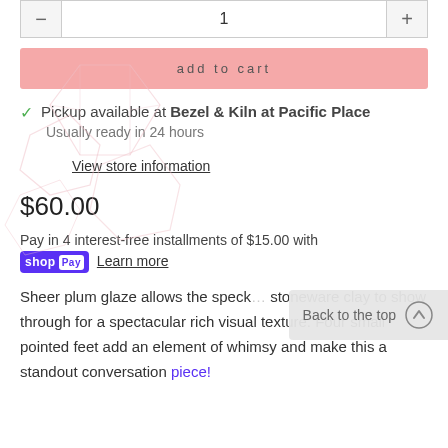add to cart
Pickup available at Bezel & Kiln at Pacific Place
Usually ready in 24 hours
View store information
$60.00
Pay in 4 interest-free installments of $15.00 with shop Pay Learn more
Back to the top
Sheer plum glaze allows the speck... stoneware clay to show through for a spectacular rich visual texture. Four small pointed feet add an element of whimsy and make this a standout conversation piece!